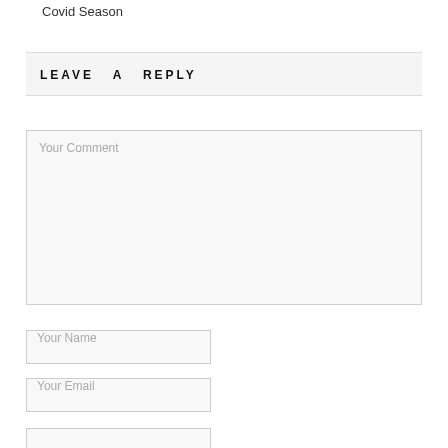Covid Season
LEAVE A REPLY
Your Comment
Your Name
Your Email